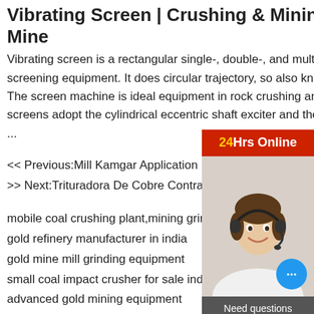Vibrating Screen | Crushing & Mining Screen - JXSC Mine
Vibrating screen is a rectangular single-, double-, and multi-layer, high-efficiency new screening equipment. It does circular trajectory, so also known as the circular vibratory screen. The screen machine is ideal equipment in rock crushing and screening plant. JXSC vibrator screens adopt the cylindrical eccentric shaft exciter and the partial ...
<< Previous:Mill Kamgar Application List
>> Next:Trituradora De Cobre Contratista
[Figure (photo): Customer service representative with headset, 24Hrs Online banner, chat bubble, Need questions & suggestion panel with Chat Now button]
mobile coal crushing plant,mining grinding
gold refinery manufacturer in india
gold mine mill grinding equipment
small coal impact crusher for sale indonesia
advanced gold mining equipment
Burnley Barracks Railway Station Timeta...